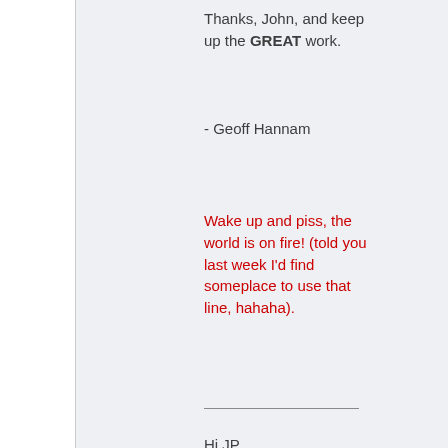Thanks, John, and keep up the GREAT work.
- Geoff Hannam
Wake up and piss, the world is on fire! (told you last week I'd find someplace to use that line, hahaha).
Hi JP,
I read the article about the smart cards in the DOD. I also have been tracking that for a while now.